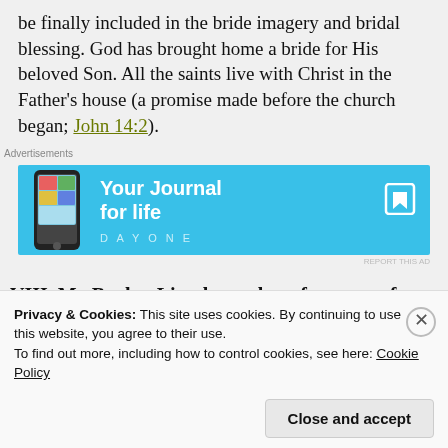be finally included in the bride imagery and bridal blessing. God has brought home a bride for His beloved Son. All the saints live with Christ in the Father's house (a promise made before the church began; John 14:2).
[Figure (other): Advertisement banner for DayOne journal app with sky blue background, phone image on left, text 'Your Journal for life' and 'DAYONE' branding with bookmark icon on right.]
VIII. My Bucket List shows the references, of people and documents, that I use when I write my
Privacy & Cookies: This site uses cookies. By continuing to use this website, you agree to their use.
To find out more, including how to control cookies, see here: Cookie Policy